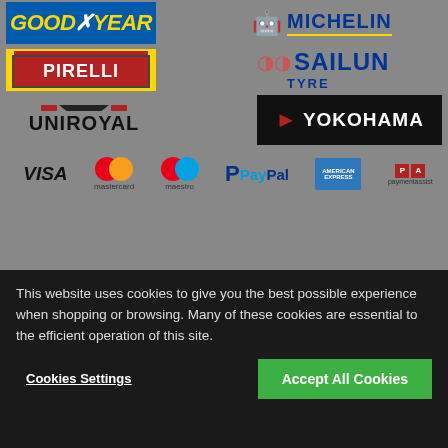[Figure (logo): Goodyear logo - blue background with italic yellow text]
[Figure (logo): Michelin logo - Bibendum figure with MICHELIN text and yellow underline]
[Figure (logo): Pirelli logo - yellow background with red banner]
[Figure (logo): Sailun Tyre logo - blue text with orange swirl icon]
[Figure (logo): Uniroyal logo - red and black stripes with black text]
[Figure (logo): Yokohama logo - black background with red arrow and white text]
[Figure (logo): Payment method logos: VISA, Mastercard, Maestro, PayPal, American Express, Payment Assist]
Excellent
This website uses cookies to give you the best possible experience when shopping or browsing. Many of these cookies are essential to the efficient operation of this site.
Cookies Settings
Accept All Cookies